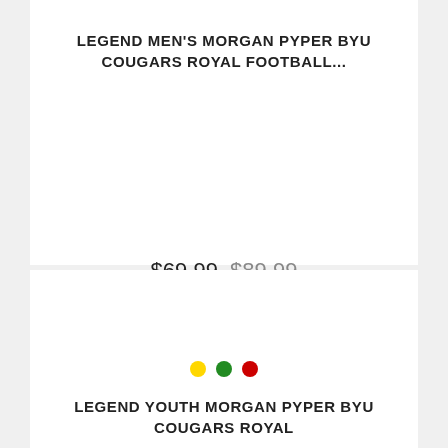LEGEND MEN'S MORGAN PYPER BYU COUGARS ROYAL FOOTBALL...
$69.99 $89.99
[Figure (illustration): Three color swatches shown as circles: yellow, dark green, and red]
LEGEND YOUTH MORGAN PYPER BYU COUGARS ROYAL